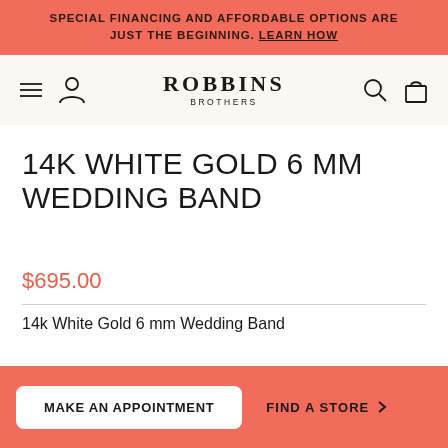SPECIAL FINANCING AND AFFORDABLE OPTIONS ARE JUST THE BEGINNING. LEARN HOW
[Figure (logo): Robbins Brothers logo with hamburger menu, user icon, search icon, and shopping bag icon in navigation bar]
14K WHITE GOLD 6 MM WEDDING BAND
$695.00
14k White Gold 6 mm Wedding Band
MAKE AN APPOINTMENT | FIND A STORE